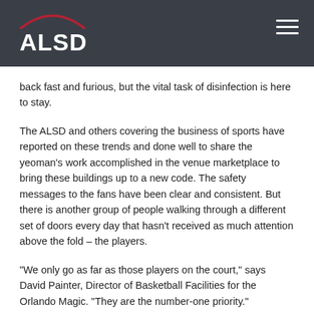ALSD
back fast and furious, but the vital task of disinfection is here to stay.
The ALSD and others covering the business of sports have reported on these trends and done well to share the yeoman's work accomplished in the venue marketplace to bring these buildings up to a new code. The safety messages to the fans have been clear and consistent. But there is another group of people walking through a different set of doors every day that hasn't received as much attention above the fold – the players.
“We only go as far as those players on the court,” says David Painter, Director of Basketball Facilities for the Orlando Magic. “They are the number-one priority.”
For the players, their bubbles of health,